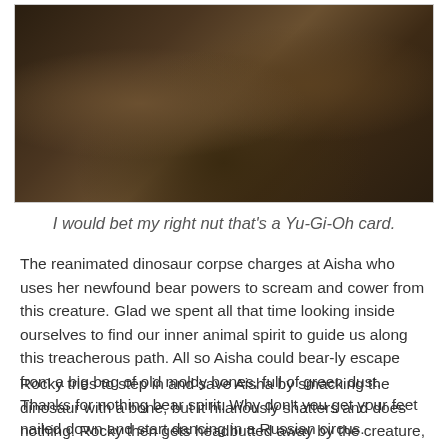[Figure (photo): Dark photograph showing what appears to be dinosaur bones or fossilized remains with brownish tones]
I would bet my right nut that's a Yu-Gi-Oh card.
The reanimated dinosaur corpse charges at Aisha who uses her newfound bear powers to scream and cower from this creature. Glad we spent all that time looking inside ourselves to find our inner animal spirit to guide us along this treacherous path. All so Aisha could bear-ly escape from a big bag of old moldy bones, full of green dust. Thanks for nothing bear spirit. Why don't you get your feet nailed down and start dancing in a Russian circus.
Rocky tries to step in and save Aisha by smacking the dinosaur with a bone, but it hilariously shatters and does nothing. Rocky then gets headbutted away by the creature, and Kimberly feigns interest in his safety. "Oh no. It was… Rocky who got injured. What a shame." The dinosaur chases after Kimberly next, and ends up trapping her inside a small